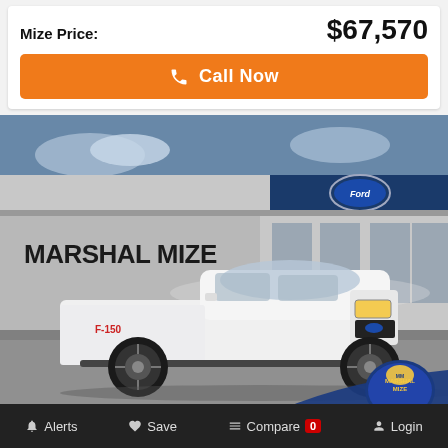Mize Price: $67,570
Call Now
[Figure (photo): White Ford F-150 pickup truck photographed in front of Marshal Mize Ford dealership. The truck has black wheels and is parked in a parking lot. A Ford oval logo is visible on the dealership building behind it along with a Marshal Mize sign. A Marshal Mize dealer logo badge appears in the bottom right corner of the image.]
Alerts  Save  Compare 0  Login